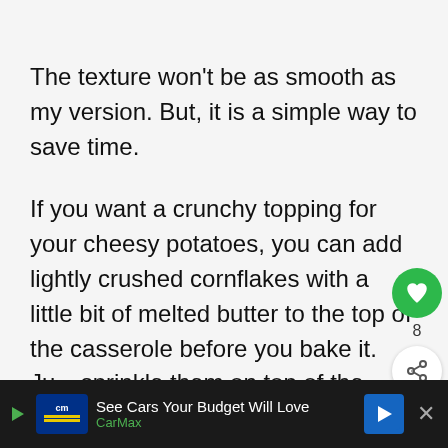The texture won't be as smooth as my version. But, it is a simple way to save time.
If you want a crunchy topping for your cheesy potatoes, you can add lightly crushed cornflakes with a little bit of melted butter to the top of the casserole before you bake it. Ju[st] sprinkle them on top of the shredded c[heese]
[Figure (other): Green circular heart/like button with count 8, and a share button below it]
[Figure (other): What's Next widget showing Homemade Vegetable... with food thumbnail]
[Figure (other): CarMax advertisement banner: See Cars Your Budget Will Love - CarMax]